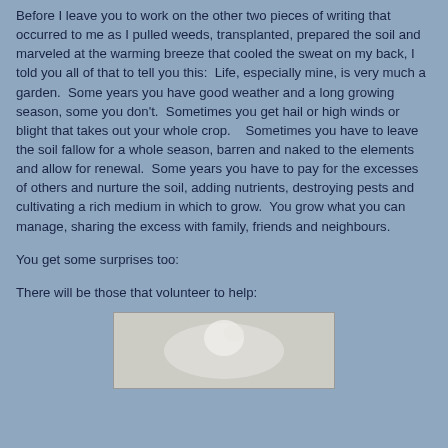Before I leave you to work on the other two pieces of writing that occurred to me as I pulled weeds, transplanted, prepared the soil and marveled at the warming breeze that cooled the sweat on my back, I told you all of that to tell you this:  Life, especially mine, is very much a garden.  Some years you have good weather and a long growing season, some you don't.  Sometimes you get hail or high winds or blight that takes out your whole crop.    Sometimes you have to leave the soil fallow for a whole season, barren and naked to the elements and allow for renewal.  Some years you have to pay for the excesses of others and nurture the soil, adding nutrients, destroying pests and cultivating a rich medium in which to grow.  You grow what you can manage, sharing the excess with family, friends and neighbours.
You get some surprises too:
There will be those that volunteer to help:
[Figure (photo): A photograph, partially visible at the bottom of the page, showing what appears to be a light-colored animal or bird.]